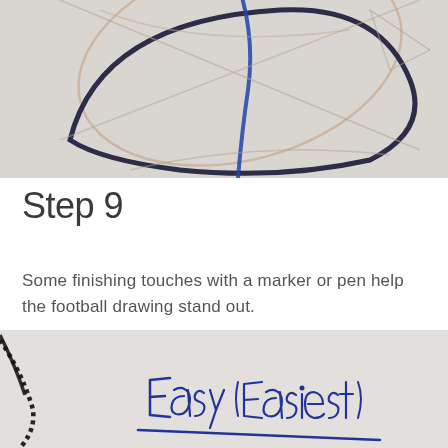[Figure (illustration): Top portion of a hand-drawn football sketch showing pencil lines and blue/dark marker outlines forming the upper part of a football shape, on a light gray paper background.]
Step 9
Some finishing touches with a marker or pen help the football drawing stand out.
[Figure (illustration): Bottom portion of a hand-drawn football sketch with black dotted outlines on the left side, and a handwritten blue ink label reading 'Easy (Easiest)' with an underline, on a light gray paper background.]